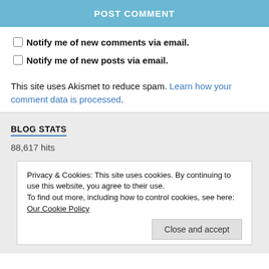POST COMMENT
Notify me of new comments via email.
Notify me of new posts via email.
This site uses Akismet to reduce spam. Learn how your comment data is processed.
BLOG STATS
88,617 hits
Privacy & Cookies: This site uses cookies. By continuing to use this website, you agree to their use.
To find out more, including how to control cookies, see here: Our Cookie Policy
Close and accept